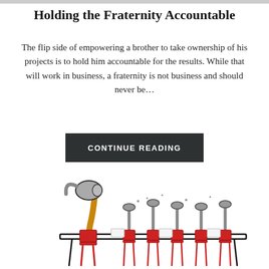Holding the Fraternity Accountable
The flip side of empowering a brother to take ownership of his projects is to hold him accountable for the results. While that will work in business, a fraternity is not business and should never be...
CONTINUE READING
[Figure (illustration): Cartoon illustration of a hammer character sitting at the head of a conference table with several nails seated in chairs around the table, depicted in a whimsical style with red chairs.]